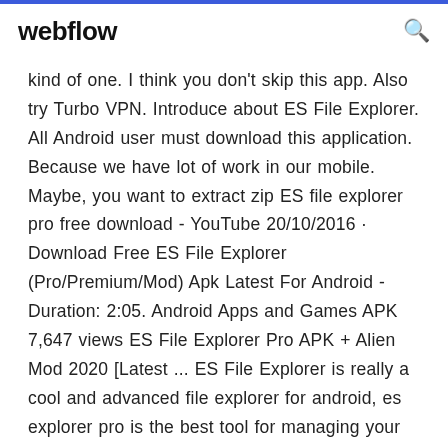webflow
kind of one. I think you don't skip this app. Also try Turbo VPN. Introduce about ES File Explorer. All Android user must download this application. Because we have lot of work in our mobile. Maybe, you want to extract zip ES file explorer pro free download - YouTube 20/10/2016 · Download Free ES File Explorer (Pro/Premium/Mod) Apk Latest For Android - Duration: 2:05. Android Apps and Games APK 7,647 views ES File Explorer Pro APK + Alien Mod 2020 [Latest ... ES File Explorer is really a cool and advanced file explorer for android, es explorer pro is the best tool for managing your programmes and files. It comes with multiple features such as a tool for stopping the already